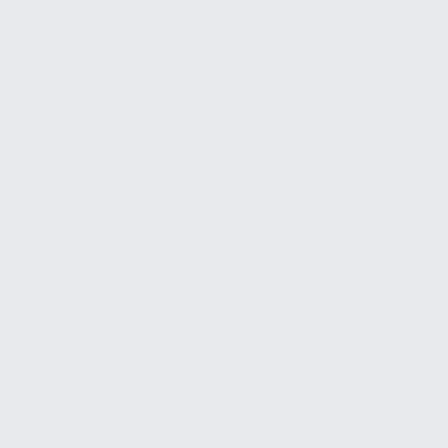to clear dirty staging dir at beta
* 19:27 urbanecm: deployment-prep: reboot deployment-eventgate-3 ([[phab:T289029|T289029]])
* 14:11 hashar: Icinga reports `Gerrit Health Check SSL Expiry` errors filed as [[phab:T308908|T308908]]
* 19:16 brennen: gitlab-test: